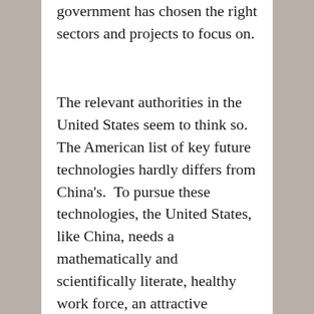government has chosen the right sectors and projects to focus on.
The relevant authorities in the United States seem to think so.  The American list of key future technologies hardly differs from China's.  To pursue these technologies, the United States, like China, needs a mathematically and scientifically literate, healthy work force, an attractive taxation environment, and efficient infrastructure to pursue research and build more secure supply chains.  But, unlike China, the United States at present is starting from